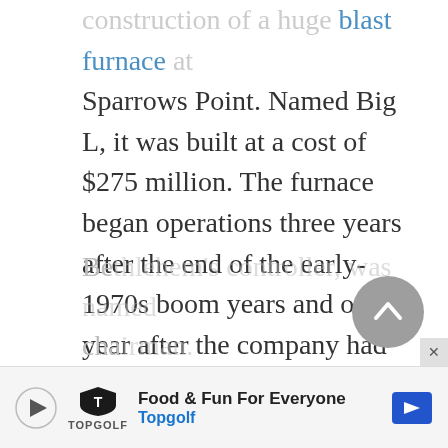construction of a huge blast furnace at Sparrows Point. Named Big L, it was built at a cost of $275 million. The furnace began operations three years after the end of the early-1970s boom years and one year after the company had shown a net operating loss of over $448 million. Bethlehem Steel was in trouble.

Drastic action was needed to save the company. In 1980 Donald Trautlein, Bethlehem's controller, was named chairman.
[Figure (other): Gray circular scroll-to-top button with upward chevron arrow]
[Figure (other): Advertisement banner for Topgolf: Food & Fun For Everyone, with Topgolf logo and blue direction arrow icon]